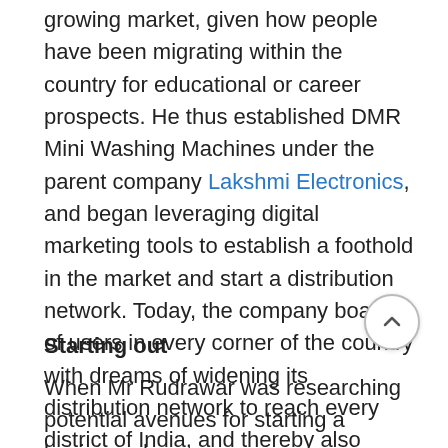growing market, given how people have been migrating within the country for educational or career prospects. He thus established DMR Mini Washing Machines under the parent company Lakshmi Electronics, and began leveraging digital marketing tools to establish a foothold in the market and start a distribution network. Today, the company boasts of users in every corner of the country with dreams of widening its distribution network to reach every district of India, and thereby also supplying a wider range of products.
Starting out
When Mr Rudrawar was researching potential avenues for starting a business, he came across a very popular product in foreign markets called the ‘Mini Washing Machine’. Although this product was very popular across the globe, it hadn't been introduced yet in India. Banking on his intuition about the product's usefulness, benefits,